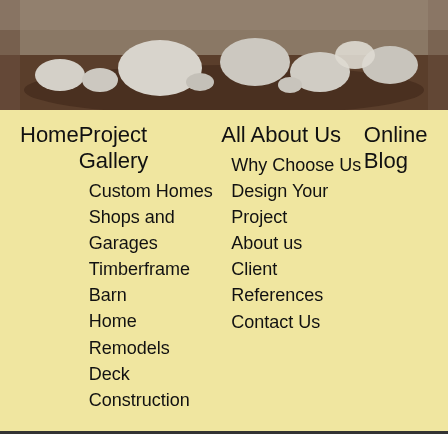[Figure (photo): Outdoor landscape photo showing large white/grey rocks arranged on dark soil with trees in background]
Home
Project Gallery
Custom Homes
Shops and Garages
Timberframe Barn
Home Remodels
Deck Construction
All About Us
Why Choose Us
Design Your Project
About us
Client References
Contact Us
Online Blog
Scott Herndon Homes is a Sandpoint, Idaho custom home builder and general contractor.
Phone (208) 610-2680.
License #RCE-23321.
Check our blog for the latest news and projects, including the following recent entries: